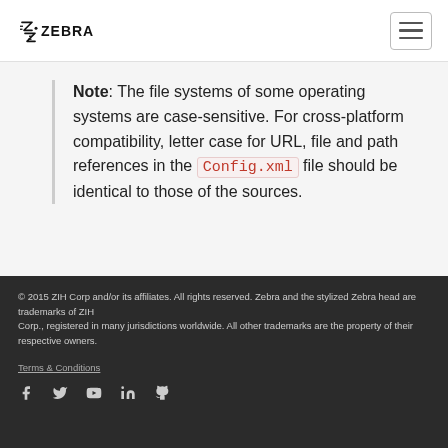Zebra Technologies
Note: The file systems of some operating systems are case-sensitive. For cross-platform compatibility, letter case for URL, file and path references in the Config.xml file should be identical to those of the sources.
Example
[Figure (screenshot): Dark code block showing XML attribute: <WebSOLDBPath value="file:///path-to-sql-]
© 2015 ZIH Corp and/or its affiliates. All rights reserved. Zebra and the stylized Zebra head are trademarks of ZIH Corp., registered in many jurisdictions worldwide. All other trademarks are the property of their respective owners.
Terms & Conditions